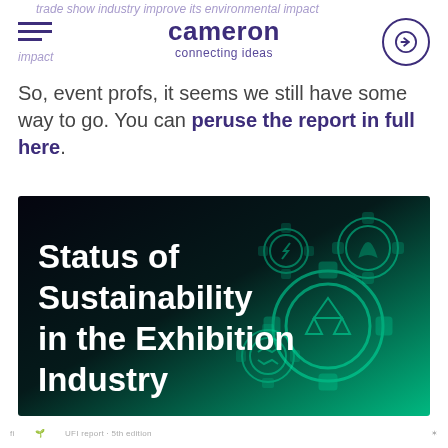trade show industry improve its environmental impact
So, event profs, it seems we still have some way to go. You can peruse the report in full here.
[Figure (illustration): Promotional image with dark-to-green gradient background featuring gear icons with sustainability symbols (recycling, leaf, solar, wind, handshake). Bold white text reads: Status of Sustainability in the Exhibition Industry]